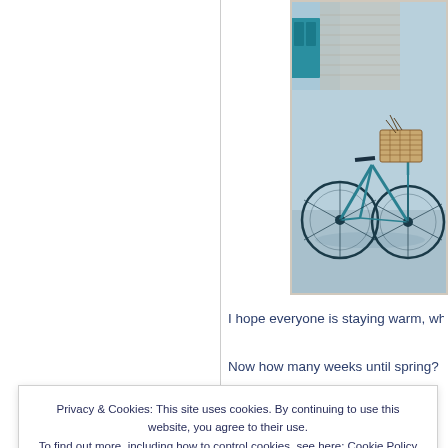[Figure (photo): Photograph of a bicycle with a basket parked near a building with a teal/green door and brick wall. The image has a cool blue-grey tint.]
I hope everyone is staying warm, whethe
Now how many weeks until spring?  ;-)
Privacy & Cookies: This site uses cookies. By continuing to use this website, you agree to their use.
To find out more, including how to control cookies, see here: Cookie Policy
Close and accept